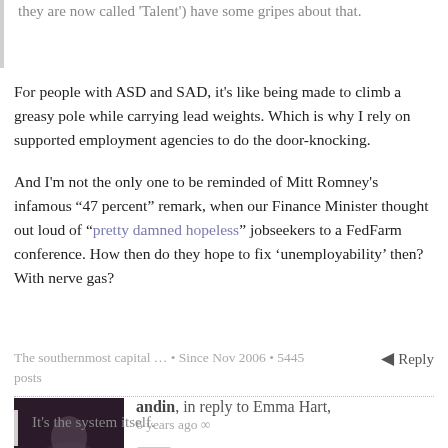they are now called 'Talent') have some gripes about that.
For people with ASD and SAD, it's like being made to climb a greasy pole while carrying lead weights. Which is why I rely on supported employment agencies to do the door-knocking.
And I'm not the only one to be reminded of Mitt Romney's infamous “47 percent” remark, when our Finance Minister thought out loud of “pretty damned hopeless” jobseekers to a FedFarm conference. How then do they hope to fix ‘unemployability’ then? With nerve gas?
The southernmost capital ... • Since Nov 2006 • 5445 posts
◄ Reply
andin, in reply to Emma Hart, 6 years ago ∞
Excellent post.
It's the system itself.